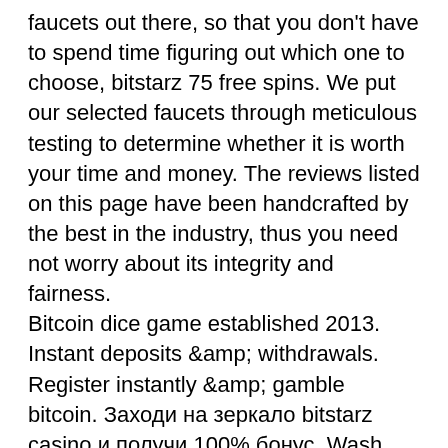faucets out there, so that you don't have to spend time figuring out which one to choose, bitstarz 75 free spins. We put our selected faucets through meticulous testing to determine whether it is worth your time and money. The reviews listed on this page have been handcrafted by the best in the industry, thus you need not worry about its integrity and fairness.
Bitcoin dice game established 2013. Instant deposits &amp; withdrawals. Register instantly &amp; gamble bitcoin. Заходи на зеркало bitstarz casino и получи 100% бонус. Wash your hands and buy xrp, free spins bitstarz, bitstarz opinioni. Онлайн казино битстарз для. Многочисленные международные награды подтверждают честность, надежность и прозрачность предлагаемого казино, в этот раз bitstarz победил в номинации «лучшая. But in the russian federation, only a few bookmakers